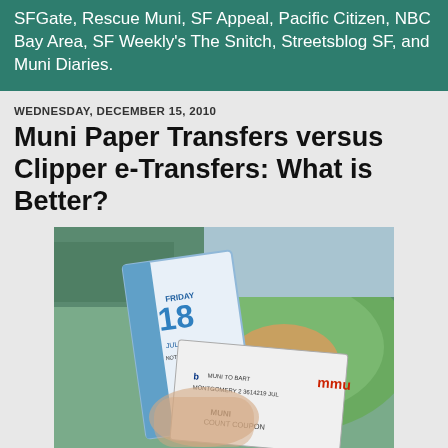SFGate, Rescue Muni, SF Appeal, Pacific Citizen, NBC Bay Area, SF Weekly's The Snitch, Streetsblog SF, and Muni Diaries.
WEDNESDAY, DECEMBER 15, 2010
Muni Paper Transfers versus Clipper e-Transfers: What is Better?
[Figure (photo): A hand holding Muni paper transfer tickets at a baseball stadium. One ticket shows Friday 18 JUL and another shows MUNI COUNT COUPON with MUNI TO BART and MONTGOMERY text visible.]
One frequent complaint I notice on my Twitter feed is about